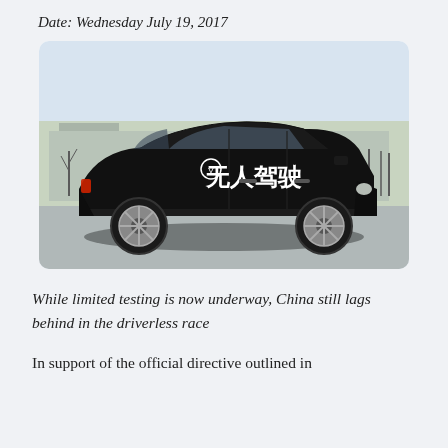Date: Wednesday July 19, 2017
[Figure (photo): A black sedan with Chinese characters '无人驾驶' (driverless) on the door, parked on a road with a suburban background and leafless trees.]
While limited testing is now underway, China still lags behind in the driverless race
In support of the official directive outlined in